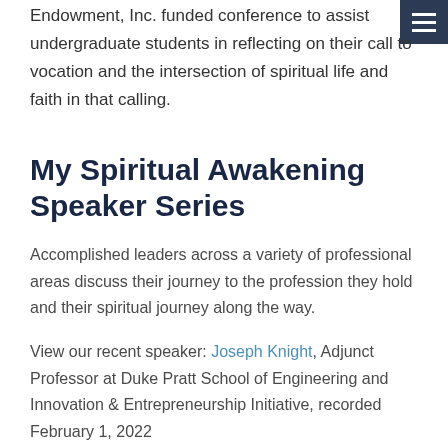Endowment, Inc. funded conference to assist undergraduate students in reflecting on their call to vocation and the intersection of spiritual life and faith in that calling.
My Spiritual Awakening Speaker Series
Accomplished leaders across a variety of professional areas discuss their journey to the profession they hold and their spiritual journey along the way.
View our recent speaker: Joseph Knight, Adjunct Professor at Duke Pratt School of Engineering and Innovation & Entrepreneurship Initiative, recorded February 1, 2022